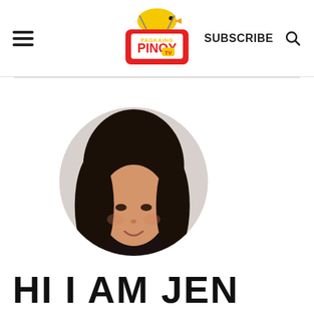Pagkaing Pinoy TV — SUBSCRIBE
[Figure (photo): Circular profile photo of a young Filipino woman with long black hair, smiling, against a light gray background]
HI I AM JEN